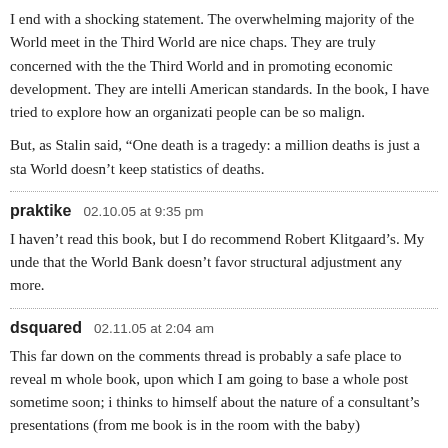I end with a shocking statement. The overwhelming majority of the World meet in the Third World are nice chaps. They are truly concerned with the the Third World and in promoting economic development. They are intelli American standards. In the book, I have tried to explore how an organizati people can be so malign.
But, as Stalin said, “One death is a tragedy: a million deaths is just a sta World doesn’t keep statistics of deaths.
praktike   02.10.05 at 9:35 pm
I haven’t read this book, but I do recommend Robert Klitgaard’s. My unde that the World Bank doesn’t favor structural adjustment any more.
dsquared   02.11.05 at 2:04 am
This far down on the comments thread is probably a safe place to reveal m whole book, upon which I am going to base a whole post sometime soon; i thinks to himself about the nature of a consultant’s presentations (from me book is in the room with the baby)